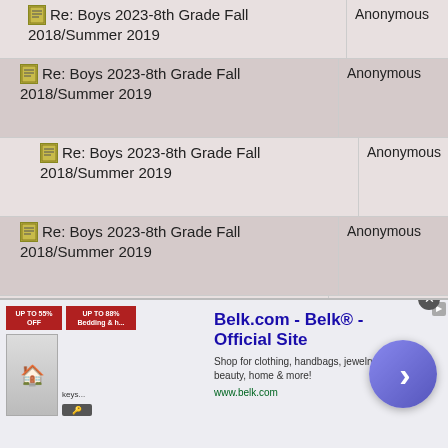| Topic | Author |
| --- | --- |
| Re: Boys 2023-8th Grade Fall 2018/Summer 2019 | Anonymous |
| Re: Boys 2023-8th Grade Fall 2018/Summer 2019 | Anonymous |
| Re: Boys 2023-8th Grade Fall 2018/Summer 2019 | Anonymous |
| Re: Boys 2023-8th Grade Fall 2018/Summer 2019 | Anonymous |
| Re: Boys 2023-8th Grade Fall 2018/Summer 2019 | Anonymous |
| Re: Boys 2023-8th Grade Fall 2018/Summer 2019 | Anonymous |
| Re: Boys 2023-8th Grade Fall 2018/Summer 2019 | Anonymous |
| Re: Boys 2023-8th Grade Fall 2018/Summer 2019 | Anonymous |
[Figure (other): Belk.com advertisement banner: 'Belk.com - Belk® - Official Site', 'Shop for clothing, handbags, jewelry, beauty, home & more!', 'www.belk.com', with promotional images and navigation arrow.]